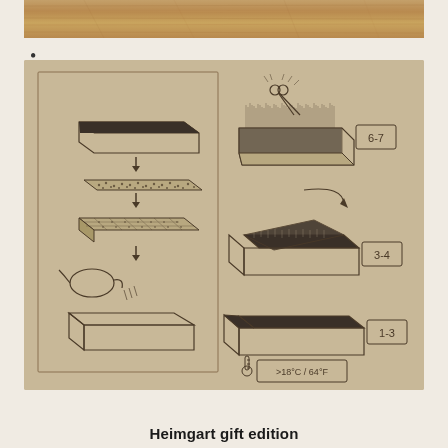[Figure (photo): Wood grain surface texture image strip at top of page]
•
[Figure (schematic): Assembly/instruction diagram on kraft paper background showing steps to assemble a Heimgart gift edition planting kit. Left column shows: seed mat components and a tray with soil being poured in. Right column shows: scissors cutting a seed mat (step 6-7), opening/placing mat in box (step 3-4), and finished closed box (step 1-3). Temperature indicator showing >18°C / 64°F at bottom right.]
Heimgart gift edition